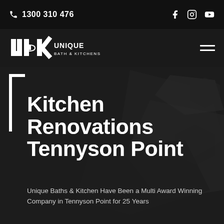1300 310 476
[Figure (logo): UBK Unique Bath & Kitchens logo — white on dark background]
Kitchen Renovations Tennyson Point
Unique Baths & Kitchen Have Been a Multi Award Winning Company in Tennyson Point for 25 Years